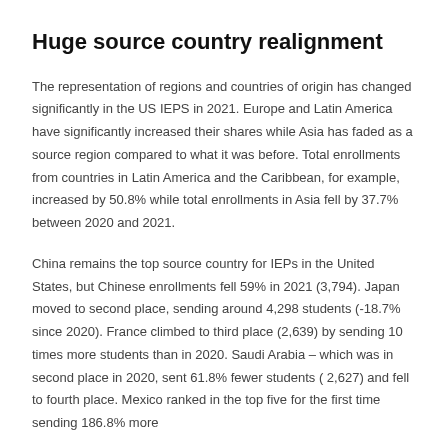Huge source country realignment
The representation of regions and countries of origin has changed significantly in the US IEPS in 2021. Europe and Latin America have significantly increased their shares while Asia has faded as a source region compared to what it was before. Total enrollments from countries in Latin America and the Caribbean, for example, increased by 50.8% while total enrollments in Asia fell by 37.7% between 2020 and 2021.
China remains the top source country for IEPs in the United States, but Chinese enrollments fell 59% in 2021 (3,794). Japan moved to second place, sending around 4,298 students (-18.7% since 2020). France climbed to third place (2,639) by sending 10 times more students than in 2020. Saudi Arabia – which was in second place in 2020, sent 61.8% fewer students ( 2,627) and fell to fourth place. Mexico ranked in the top five for the first time sending 186.8% more